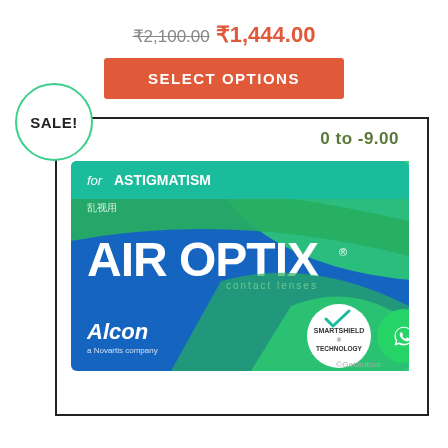₹2,100.00 ₹1,444.00
SELECT OPTIONS
SALE!
0 to -9.00
[Figure (photo): Air Optix for Astigmatism contact lenses box by Alcon (a Novartis company), blue and green box with SmartShield Technology badge]